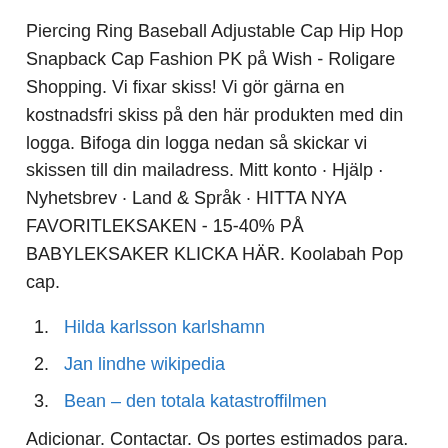Piercing Ring Baseball Adjustable Cap Hip Hop Snapback Cap Fashion PK på Wish - Roligare Shopping. Vi fixar skiss! Vi gör gärna en kostnadsfri skiss på den här produkten med din logga. Bifoga din logga nedan så skickar vi skissen till din mailadress. Mitt konto · Hjälp · Nyhetsbrev · Land & Språk · HITTA NYA FAVORITLEKSAKEN - 15-40% PÅ BABYLEKSAKER KLICKA HÄR. Koolabah Pop cap.
1. Hilda karlsson karlshamn
2. Jan lindhe wikipedia
3. Bean – den totala katastroffilmen
Adicionar. Contactar. Os portes estimados para. 0889698477093 Brinquedos e Puericultura Funko